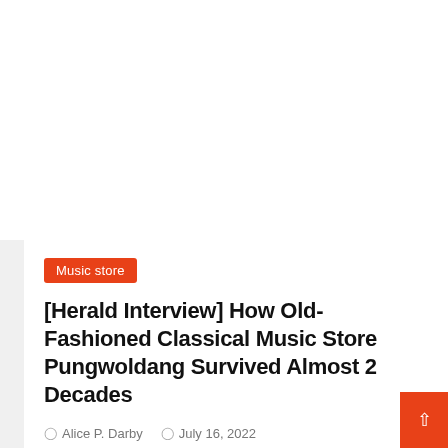[Figure (other): White/blank upper area of the webpage, serving as background space above the article card]
Music store
[Herald Interview] How Old-Fashioned Classical Music Store Pungwoldang Survived Almost 2 Decades
Alice P. Darby   July 16, 2022